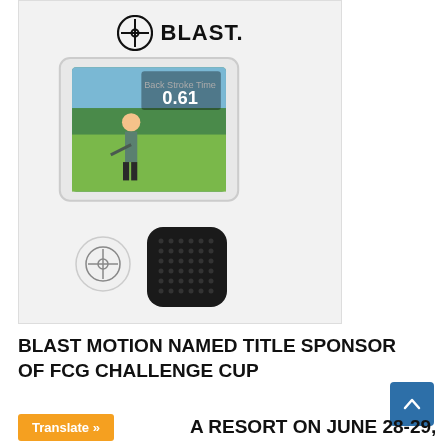[Figure (photo): Blast Motion product photo showing a tablet with golf swing analysis app displaying 0.61 back stroke time, alongside a white Blast Motion sensor puck and a black textured rubber grip sleeve. The Blast logo (circle with crosshair icon and BLAST. text) appears at the top.]
BLAST MOTION NAMED TITLE SPONSOR OF FCG CHALLENGE CUP AT A RESORT ON JUNE 28-29,